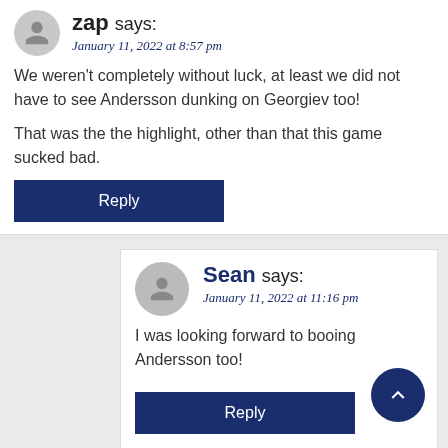zap says:
January 11, 2022 at 8:57 pm
We weren't completely without luck, at least we did not have to see Andersson dunking on Georgiev too!
That was the the highlight, other than that this game sucked bad.
Reply
Sean says:
January 11, 2022 at 11:16 pm
I was looking forward to booing Andersson too!
Reply